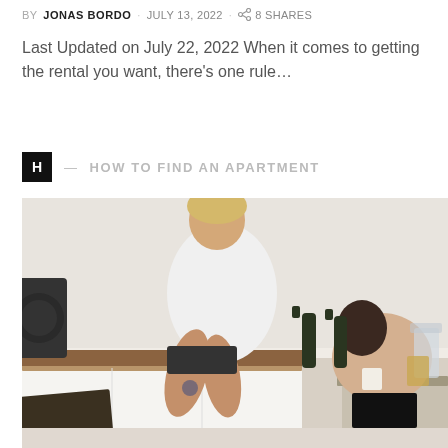BY JONAS BORDO · JULY 13, 2022 · 8 SHARES
Last Updated on July 22, 2022 When it comes to getting the rental you want, there's one rule...
H — HOW TO FIND AN APARTMENT
[Figure (photo): Two people in a kitchen: one person in a white oversized t-shirt sitting on a counter, the other person in a beige t-shirt bent over a table. Beer bottles and kitchen items visible on the counter.]